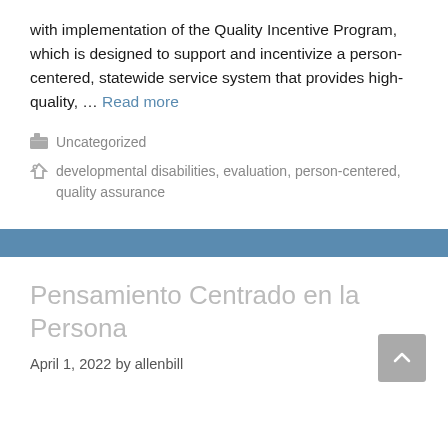with implementation of the Quality Incentive Program, which is designed to support and incentivize a person-centered, statewide service system that provides high-quality, ... Read more
Uncategorized
developmental disabilities, evaluation, person-centered, quality assurance
Pensamiento Centrado en la Persona
April 1, 2022 by allenbill